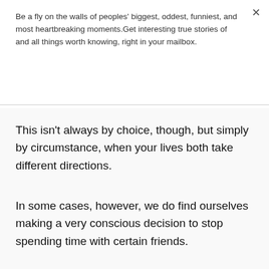Be a fly on the walls of peoples' biggest, oddest, funniest, and most heartbreaking moments.Get interesting true stories of and all things worth knowing, right in your mailbox.
Subscribe
This isn't always by choice, though, but simply by circumstance, when your lives both take different directions.
In some cases, however, we do find ourselves making a very conscious decision to stop spending time with certain friends.
Owing to the fact that these people might not be our friends after all.